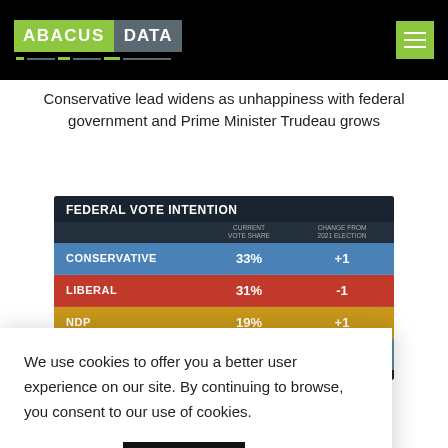ABACUS DATA
Conservative lead widens as unhappiness with federal government and Prime Minister Trudeau grows
[Figure (table-as-image): Federal Vote Intention table showing Conservative 33% (+1), Liberal 31% (-1), NDP 19% (+1), BQ 8% (-) with current vote share and change from 2021 election columns]
We use cookies to offer you a better user experience on our site. By continuing to browse, you consent to our use of cookies.
Learn More   ACCEPT
[Figure (table-as-image): Partial view of a second Federal Vote Intention table showing Conservative 34%]